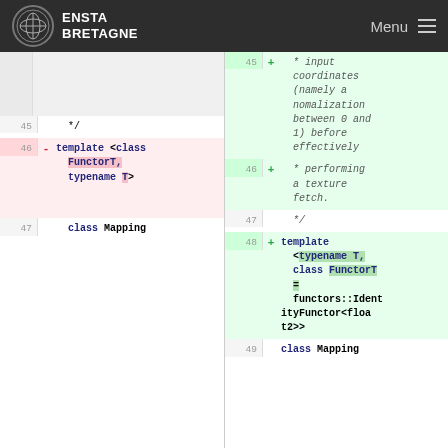ENSTA BRETAGNE — Menu
Code diff view showing lines 45-49 on left and lines 45-49 on right with additions and removals for a C++ template class definition
| Left Line | Marker | Left Code | Right Line | Marker | Right Code |
| --- | --- | --- | --- | --- | --- |
|  |  | (empty/blank) | 45 | + | * input coordinates (namely a nomalization between 0 and 1) before effectively |
|  |  | (empty/blank) | 46 | + | * performing a texture fetch. |
| 45 |  | */ | 47 |  | */ |
| 46 | - | template <class FunctorT, typename T> | 48 | + | template <typename T, class FunctorT = functors::IdentityFunctor<float2>> |
| 47 |  | class Mapping | 49 |  | class Mapping |